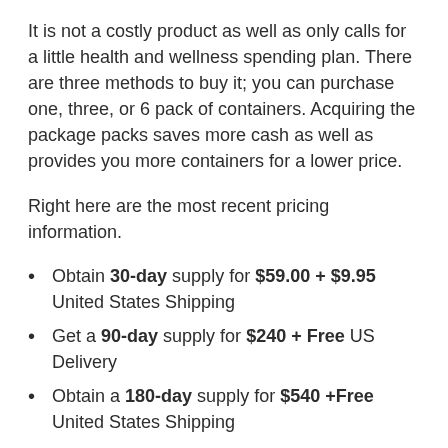It is not a costly product as well as only calls for a little health and wellness spending plan. There are three methods to buy it; you can purchase one, three, or 6 pack of containers. Acquiring the package packs saves more cash as well as provides you more containers for a lower price.
Right here are the most recent pricing information.
Obtain 30-day supply for $59.00 + $9.95 United States Shipping
Get a 90-day supply for $240 + Free US Delivery
Obtain a 180-day supply for $540 +Free United States Shipping